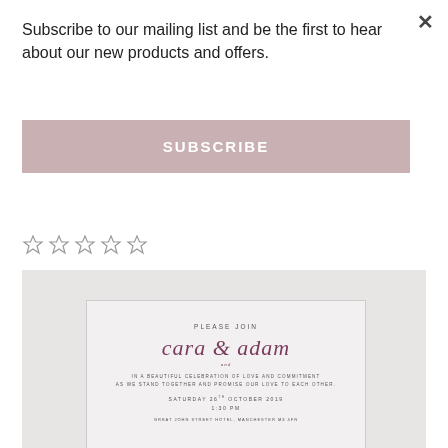Subscribe to our mailing list and be the first to hear about our new products and offers.
SUBSCRIBE
[Figure (other): Five empty star rating icons]
[Figure (other): Wedding invitation card showing names cara and adam in script font, with text PLEASE JOIN, IN A BEAUTIFUL CELEBRATION OF LOVE AND COMMITMENT AS WE STAND TOGETHER AND PROMISE OUR LOVE TO EACH OTHER. SATURDAY 26TH OCTOBER 2019, 1:30 PM, GREAT JOHN STREET HOTEL, MANCHESTER M3 4FN]